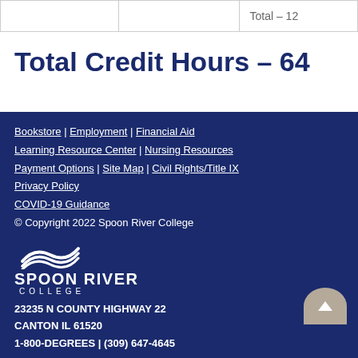|  |  |  |
| --- | --- | --- |
|  |  | Total – 12 |
Total Credit Hours – 64
Bookstore | Employment | Financial Aid Learning Resource Center | Nursing Resources Payment Options | Site Map | Civil Rights/Title IX Privacy Policy COVID-19 Guidance © Copyright 2022 Spoon River College 23235 N COUNTY HIGHWAY 22 CANTON IL 61520 1-800-DEGREES | (309) 647-4645